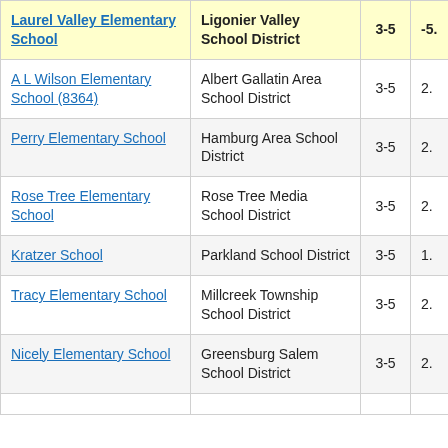| School | District | Grades | Value |
| --- | --- | --- | --- |
| Laurel Valley Elementary School | Ligonier Valley School District | 3-5 | -5. |
| A L Wilson Elementary School (8364) | Albert Gallatin Area School District | 3-5 | 2. |
| Perry Elementary School | Hamburg Area School District | 3-5 | 2. |
| Rose Tree Elementary School | Rose Tree Media School District | 3-5 | 2. |
| Kratzer School | Parkland School District | 3-5 | 1. |
| Tracy Elementary School | Millcreek Township School District | 3-5 | 2. |
| Nicely Elementary School | Greensburg Salem School District | 3-5 | 2. |